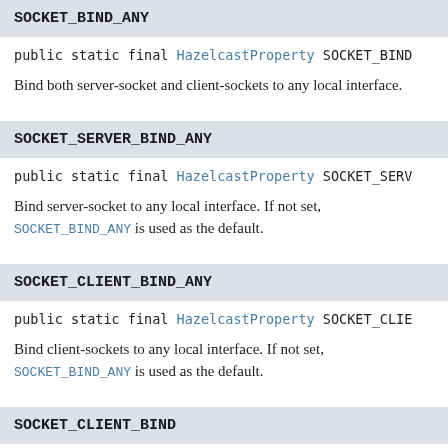SOCKET_BIND_ANY
public static final HazelcastProperty SOCKET_BIND_…
Bind both server-socket and client-sockets to any local interface.
SOCKET_SERVER_BIND_ANY
public static final HazelcastProperty SOCKET_SERV…
Bind server-socket to any local interface. If not set, SOCKET_BIND_ANY is used as the default.
SOCKET_CLIENT_BIND_ANY
public static final HazelcastProperty SOCKET_CLIE…
Bind client-sockets to any local interface. If not set, SOCKET_BIND_ANY is used as the default.
SOCKET_CLIENT_BIND